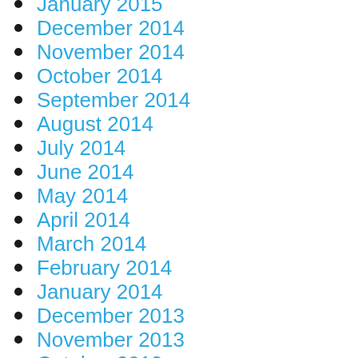January 2015
December 2014
November 2014
October 2014
September 2014
August 2014
July 2014
June 2014
May 2014
April 2014
March 2014
February 2014
January 2014
December 2013
November 2013
October 2013
September 2013